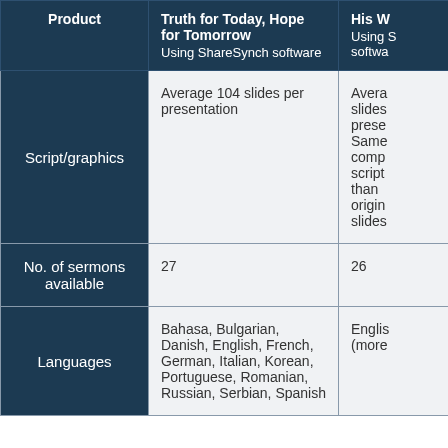| Product | Truth for Today, Hope for Tomorrow
Using ShareSynch software | His W...
Using ... software |
| --- | --- | --- |
| Script/graphics | Average 104 slides per presentation | Avera slides prese Same comp script than origin slides |
| No. of sermons available | 27 | 26 |
| Languages | Bahasa, Bulgarian, Danish, English, French, German, Italian, Korean, Portuguese, Romanian, Russian, Serbian, Spanish | Englis (more |